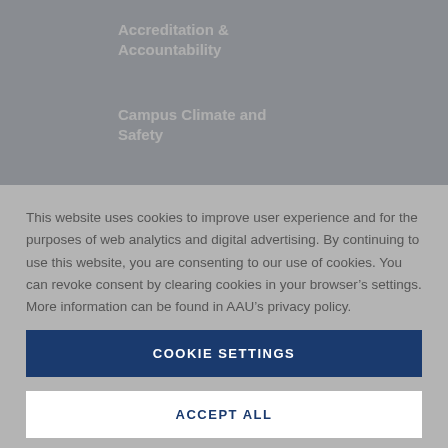Accreditation & Accountability
Campus Climate and Safety
This website uses cookies to improve user experience and for the purposes of web analytics and digital advertising. By continuing to use this website, you are consenting to our use of cookies. You can revoke consent by clearing cookies in your browser's settings. More information can be found in AAU's privacy policy.
COOKIE SETTINGS
ACCEPT ALL